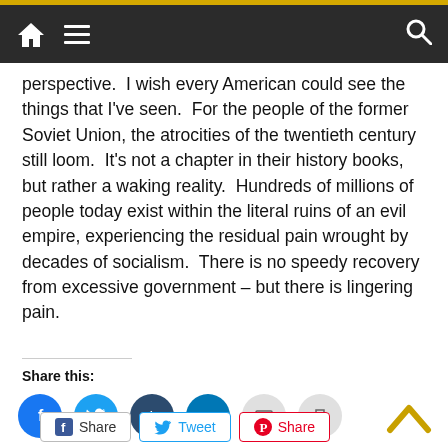Navigation bar with home, menu, and search icons
perspective.  I wish every American could see the things that I've seen.  For the people of the former Soviet Union, the atrocities of the twentieth century still loom.  It's not a chapter in their history books, but rather a waking reality.  Hundreds of millions of people today exist within the literal ruins of an evil empire, experiencing the residual pain wrought by decades of socialism.  There is no speedy recovery from excessive government – but there is lingering pain.
Share this:
[Figure (infographic): Row of social share circle buttons: Facebook (blue), Twitter (light blue), Tumblr (dark blue), LinkedIn (teal), Email (grey), Print (grey)]
[Figure (infographic): Row of three rectangular share buttons: Facebook Share, Twitter Tweet, Pinterest Share]